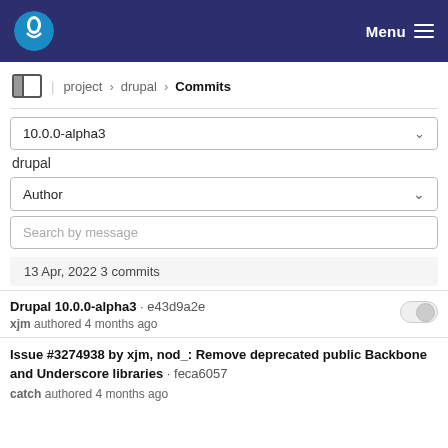Menu
project › drupal › Commits
10.0.0-alpha3
drupal
Author
Search by message
13 Apr, 2022 3 commits
Drupal 10.0.0-alpha3 · e43d9a2e
xjm authored 4 months ago
Issue #3274938 by xjm, nod_: Remove deprecated public Backbone and Underscore libraries · feca6057
catch authored 4 months ago